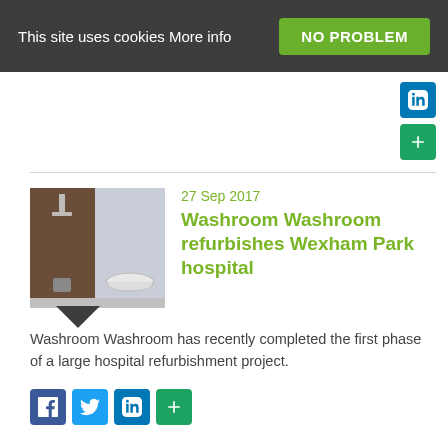This site uses cookies More info   NO PROBLEM
[Figure (photo): Thumbnail photo of a bathroom with bathtub, left side showing dark wood wall and right side showing a white freestanding bathtub]
27 Sep 2017
Washroom Washroom refurbishes Wexham Park hospital
Washroom Washroom has recently completed the first phase of a large hospital refurbishment project.
Posted in Articles, Bathrooms, Bedrooms & Washrooms, Building Industry News, Interiors, Retrofit & Renovation, Walls